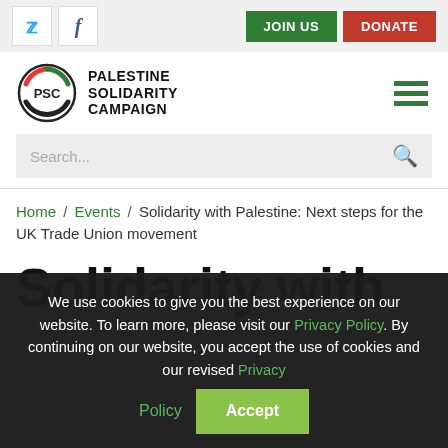Twitter | Facebook | JOIN US | DONATE
[Figure (logo): Palestine Solidarity Campaign (PSC) logo with circular arrow emblem in red, green, black, white]
PALESTINE SOLIDARITY CAMPAIGN
Search...
Home / Events / Solidarity with Palestine: Next steps for the UK Trade Union movement
Solidarity with
We use cookies to give you the best experience on our website. To learn more, please visit our Privacy Policy. By continuing on our website, you accept the use of cookies and our revised Privacy Policy Accept